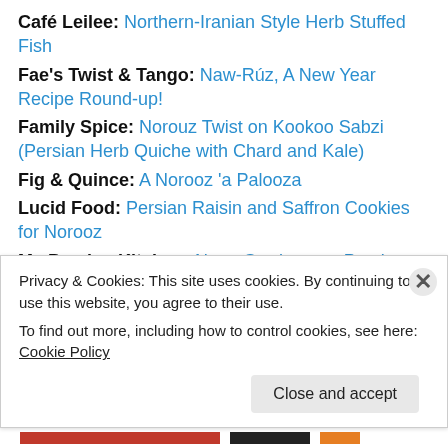Café Leilee: Northern-Iranian Style Herb Stuffed Fish
Fae's Twist & Tango: Naw-Rúz, A New Year Recipe Round-up!
Family Spice: Norouz Twist on Kookoo Sabzi (Persian Herb Quiche with Chard and Kale)
Fig & Quince: A Norooz 'a Palooza
Lucid Food: Persian Raisin and Saffron Cookies for Norooz
My Persian Kitchen: Naan Gerdooee ~ Persian Walnut Cookie
Simi's Kitchen: New Blog for Nowruz
Privacy & Cookies: This site uses cookies. By continuing to use this website, you agree to their use. To find out more, including how to control cookies, see here: Cookie Policy
Close and accept